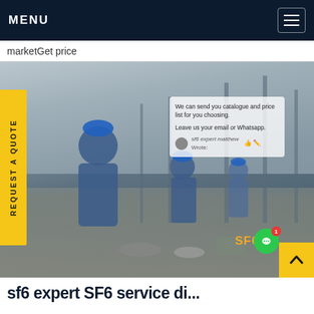MENU
marketGet price
[Figure (photo): Workers in blue uniforms and hard hats at an outdoor electrical substation, with equipment and tools on the ground. Overlaid with a live chat popup and a 'REQUEST A QUOTE' vertical yellow tab on the left side. SF6CH watermark in orange at bottom right.]
SF6CH
We can send you catalogue and price list for you choosing. Leave us your email or Whatsapp.
sf6 expert matthew Wrote: